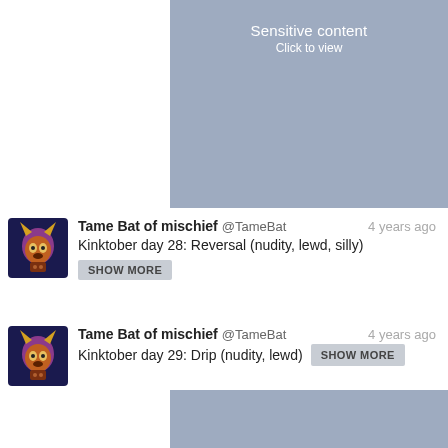[Figure (screenshot): Sensitive content placeholder block (blurred/hidden image) with text 'Sensitive content / Click to view']
Tame Bat of mischief @TameBat 4 years ago
Kinktober day 28: Reversal (nudity, lewd, silly)
SHOW MORE
Tame Bat of mischief @TameBat 4 years ago
Kinktober day 29: Drip (nudity, lewd) SHOW MORE
[Figure (screenshot): Sensitive content placeholder block (blurred/hidden image)]